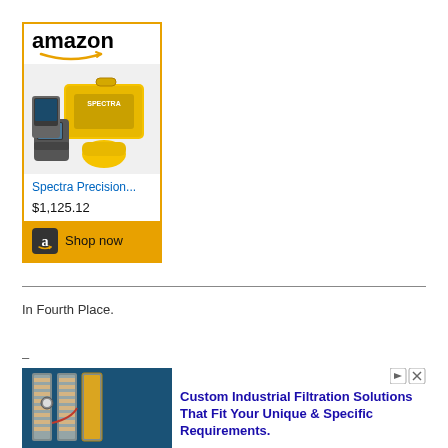[Figure (other): Amazon advertisement box showing Spectra Precision laser level product with yellow case, priced at $1,125.12, with Shop Now button]
In Fourth Place.
[Figure (other): Advertisement for Custom Industrial Filtration Solutions showing industrial filtration equipment with blue frame. Text: Custom Industrial Filtration Solutions That Fit Your Unique & Specific Requirements.]
Ad